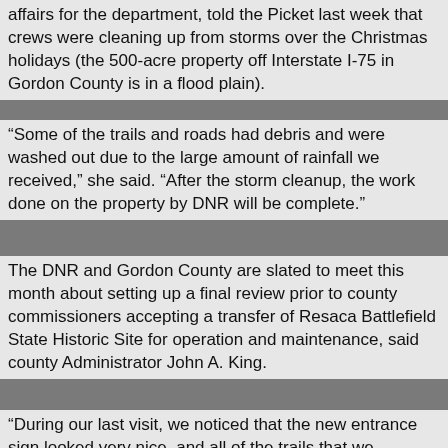affairs for the department, told the Picket last week that crews were cleaning up from storms over the Christmas holidays (the 500-acre property off Interstate I-75 in Gordon County is in a flood plain).
“Some of the trails and roads had debris and were washed out due to the large amount of rainfall we received,” she said. “After the storm cleanup, the work done on the property by DNR will be complete.”
The DNR and Gordon County are slated to meet this month about setting up a final review prior to county commissioners accepting a transfer of Resaca Battlefield State Historic Site for operation and maintenance, said county Administrator John A. King.
“During our last visit, we noticed that the new entrance sign looked very nice, and all of the trails that we observed were in the best condition that we have seen so far. Some of the trail markers needed attention; and several of the interpretive signs, which had been slated for correction, were still pending installation,” King told the Picket. “The county is